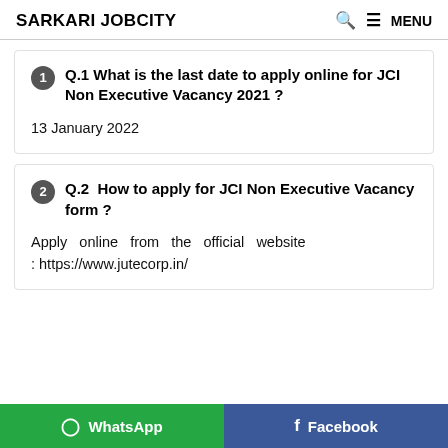SARKARI JOBCITY   🔍  ☰ MENU
Q.1 What is the last date to apply online for JCI Non Executive Vacancy 2021 ?
13 January 2022
Q.2  How to apply for JCI Non Executive Vacancy form ?
Apply online from the official website : https://www.jutecorp.in/
WhatsApp   Facebook